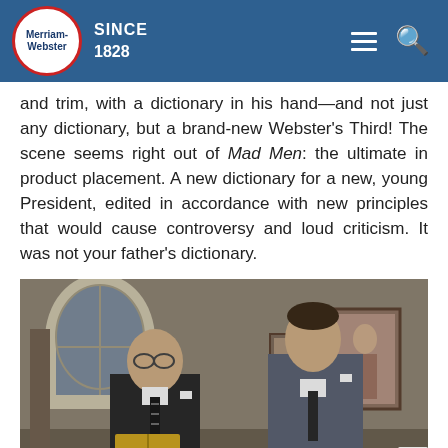Merriam-Webster SINCE 1828
and trim, with a dictionary in his hand—and not just any dictionary, but a brand-new Webster's Third! The scene seems right out of Mad Men: the ultimate in product placement. A new dictionary for a new, young President, edited in accordance with new principles that would cause controversy and loud criticism. It was not your father's dictionary.
[Figure (photo): Black and white / color photograph of two men in suits, one holding a book (dictionary), standing indoors, appearing to be in a formal setting such as the White House.]